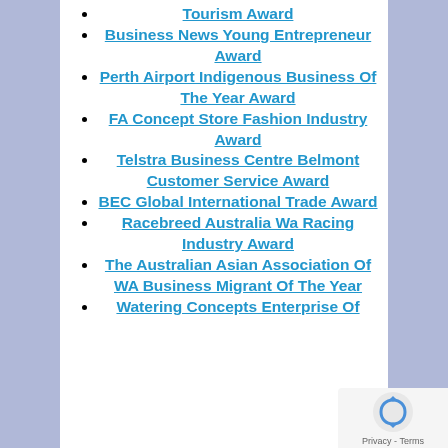Tourism Award
Business News Young Entrepreneur Award
Perth Airport Indigenous Business Of The Year Award
FA Concept Store Fashion Industry Award
Telstra Business Centre Belmont Customer Service Award
BEC Global International Trade Award
Racebreed Australia Wa Racing Industry Award
The Australian Asian Association Of WA Business Migrant Of The Year
Watering Concepts Enterprise Of